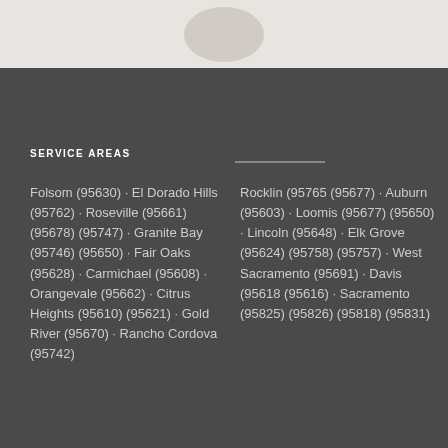[Figure (photo): Partial view of a circular/oval shaped image at top of page on light beige background]
SERVICE AREAS
Folsom (95630) · El Dorado Hills (95762) · Roseville (95661) (95678) (95747) · Granite Bay (95746) (95650) · Fair Oaks (95628) · Carmichael (95608) · Orangevale (95662) · Citrus Heights (95610) (95621) · Gold River (95670) · Rancho Cordova (95742)
Rocklin (95765 (95677) · Auburn (95603) · Loomis (95677) (95650) · Lincoln (95648) · Elk Grove (95624) (95758) (95757) · West Sacramento (95691) · Davis (95618 (95616) · Sacramento (95825) (95826) (95818) (95831)